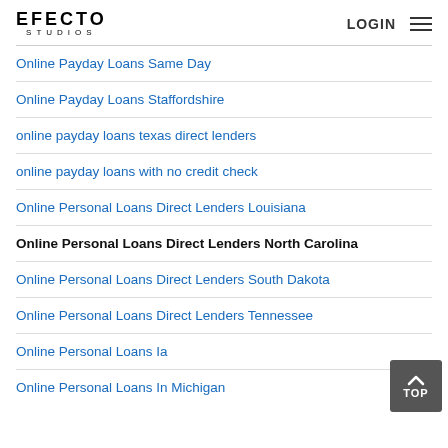EFECTO STUDIOS | LOGIN
Online Payday Loans Same Day
Online Payday Loans Staffordshire
online payday loans texas direct lenders
online payday loans with no credit check
Online Personal Loans Direct Lenders Louisiana
Online Personal Loans Direct Lenders North Carolina
Online Personal Loans Direct Lenders South Dakota
Online Personal Loans Direct Lenders Tennessee
Online Personal Loans Ia
Online Personal Loans In Michigan